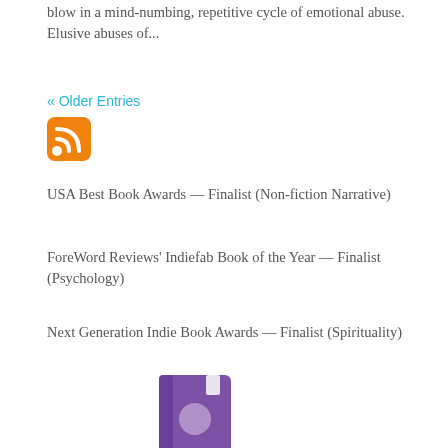blow in a mind-numbing, repetitive cycle of emotional abuse. Elusive abuses of...
« Older Entries
[Figure (illustration): Orange RSS feed icon]
USA Best Book Awards — Finalist (Non-fiction Narrative)
ForeWord Reviews' Indiefab Book of the Year — Finalist (Psychology)
Next Generation Indie Book Awards — Finalist (Spirituality)
[Figure (logo): Purple book with speech bubble icon (book review/reading app logo)]